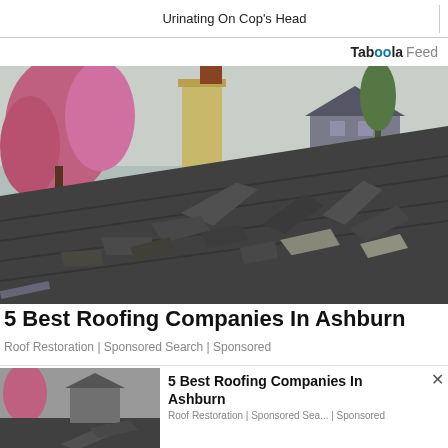Urinating On Cop's Head
Taboola Feed
[Figure (photo): Damaged roof with shingles peeling and scattered, showing severe roof deterioration. Cherry blossom trees and houses visible in background.]
5 Best Roofing Companies In Ashburn
Roof Restoration | Sponsored Search | Sponsored
[Figure (photo): Small thumbnail of same damaged roof image.]
5 Best Roofing Companies In Ashburn
Roof Restoration | Sponsored Sea... | Sponsored